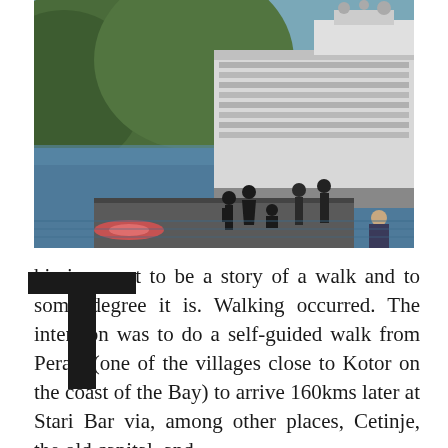[Figure (photo): Photograph of a cruise ship docked in a bay, with green forested hills in the background. In the foreground, people are gathered on a stone waterfront dock — silhouettes standing and sitting near the water. A large white cruise ship fills the upper center and right of the image.]
This is meant to be a story of a walk and to some degree it is. Walking occurred. The intention was to do a self-guided walk from Perast (one of the villages close to Kotor on the coast of the Bay) to arrive 160kms later at Stari Bar via, among other places, Cetinje, the old capital, and